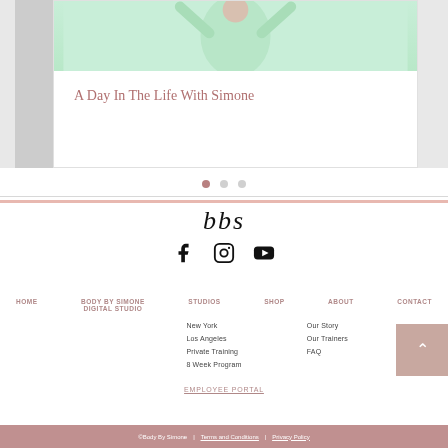[Figure (photo): Card showing a woman in a mint green sports bra top with arms raised, over a white card panel with pink title text]
A Day In The Life With Simone
[Figure (other): Three pagination dots: one filled pink, two grey]
[Figure (logo): bbs logo in italic serif font with Facebook, Instagram, and YouTube social icons below]
HOME
BODY BY SIMONE DIGITAL STUDIO
STUDIOS
SHOP
ABOUT
CONTACT
New York
Los Angeles
Private Training
8 Week Program
Our Story
Our Trainers
FAQ
EMPLOYEE PORTAL
©Body By Simone | Terms and Conditions | Privacy Policy